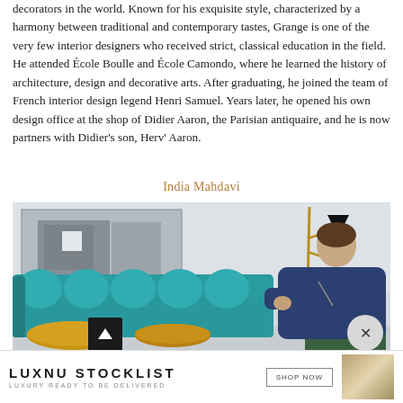decorators in the world. Known for his exquisite style, characterized by a harmony between traditional and contemporary tastes, Grange is one of the very few interior designers who received strict, classical education in the field. He attended École Boulle and École Camondo, where he learned the history of architecture, design and decorative arts. After graduating, he joined the team of French interior design legend Henri Samuel. Years later, he opened his own design office at the shop of Didier Aaron, the Parisian antiquaire, and he is now partners with Didier's son, Herv' Aaron.
India Mahdavi
[Figure (photo): India Mahdavi seated in a green chair wearing a navy blue outfit, in front of a teal velvet sofa with round cushions and a gold coffee table. Abstract gray artwork on the wall behind. A brass floor lamp visible in the background.]
LUXNU STOCKLIST LUXURY READY TO BE DELIVERED   SHOP NOW